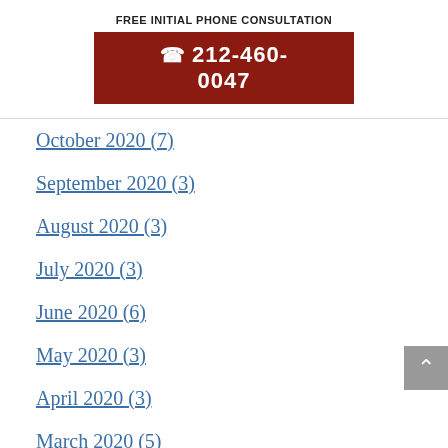FREE INITIAL PHONE CONSULTATION
☎ 212-460-0047
October 2020 (7)
September 2020 (3)
August 2020 (3)
July 2020 (3)
June 2020 (6)
May 2020 (3)
April 2020 (3)
March 2020 (5)
February 2020 (3)